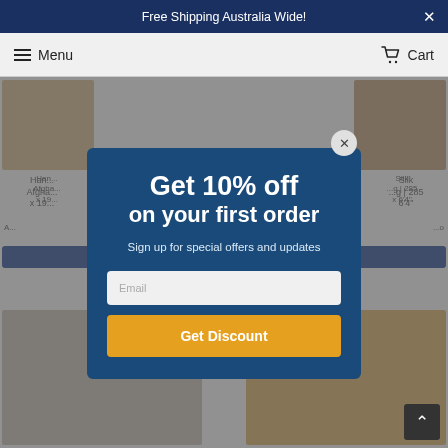Free Shipping Australia Wide!
Menu   Cart
Get 10% off on your first order
Sign up for special offers and updates
Email
Get Discount